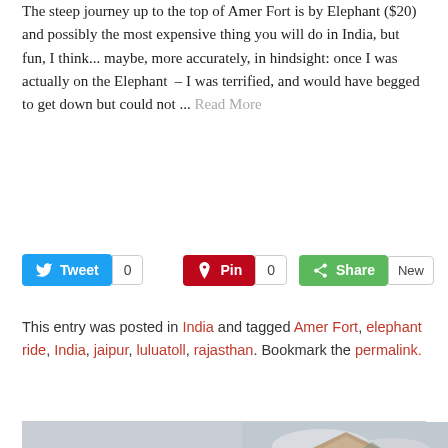The steep journey up to the top of Amer Fort is by Elephant ($20) and possibly the most expensive thing you will do in India, but fun, I think... maybe, more accurately, in hindsight: once I was actually on the Elephant – I was terrified, and would have begged to get down but could not ... Read More
[Figure (other): Social sharing buttons: Tweet (0), Pin (0), Share (New)]
This entry was posted in India and tagged Amer Fort, elephant ride, India, jaipur, luluatoll, rajasthan. Bookmark the permalink.
[Figure (photo): Two photos of Amer Fort: left shows aerial view of fort complex with mountains in background, right shows columned hall of the fort with visitors]
[Figure (photo): Right photo: Columned structure at Amer Fort with people below]